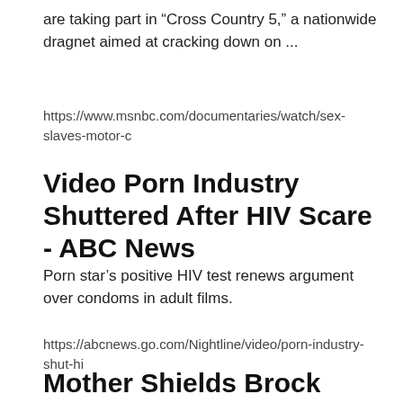are taking part in “Cross Country 5,” a nationwide dragnet aimed at cracking down on ...
https://www.msnbc.com/documentaries/watch/sex-slaves-motor-c
Video Porn Industry Shuttered After HIV Scare - ABC News
Porn star’s positive HIV test renews argument over condoms in adult films.
https://abcnews.go.com/Nightline/video/porn-industry-shut-hi
Mother Shields Brock Turner As He Registers As Sex ...